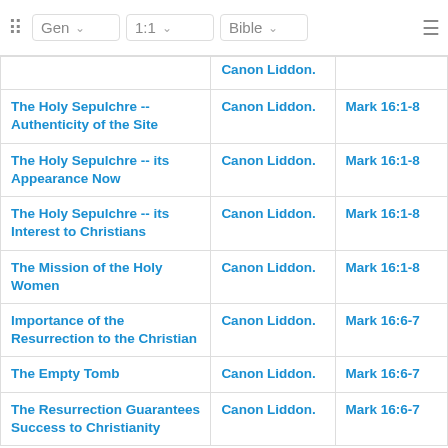Gen 1:1 Bible
| Title | Author | Scripture |
| --- | --- | --- |
|  | Canon Liddon. |  |
| The Holy Sepulchre -- Authenticity of the Site | Canon Liddon. | Mark 16:1-8 |
| The Holy Sepulchre -- its Appearance Now | Canon Liddon. | Mark 16:1-8 |
| The Holy Sepulchre -- its Interest to Christians | Canon Liddon. | Mark 16:1-8 |
| The Mission of the Holy Women | Canon Liddon. | Mark 16:1-8 |
| Importance of the Resurrection to the Christian | Canon Liddon. | Mark 16:6-7 |
| The Empty Tomb | Canon Liddon. | Mark 16:6-7 |
| The Resurrection Guarantees Success to Christianity | Canon Liddon. | Mark 16:6-7 |